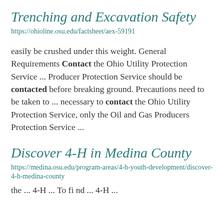Trenching and Excavation Safety
https://ohioline.osu.edu/factsheet/aex-59191
easily be crushed under this weight. General Requirements Contact the Ohio Utility Protection Service ... Producer Protection Service should be contacted before breaking ground. Precautions need to be taken to ... necessary to contact the Ohio Utility Protection Service, only the Oil and Gas Producers Protection Service ...
Discover 4-H in Medina County
https://medina.osu.edu/program-areas/4-h-youth-development/discover-4-h-medina-county
the ... 4-H ... To find ... 4-H ...